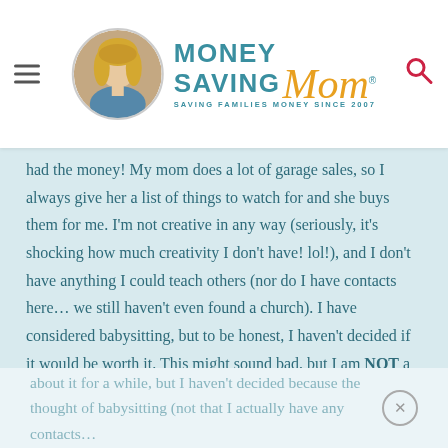[Figure (logo): Money Saving Mom logo with circular photo of a blonde woman, teal MONEY SAVING text, gold script Mom, and tagline SAVING FAMILIES MONEY SINCE 2007]
had the money! My mom does a lot of garage sales, so I always give her a list of things to watch for and she buys them for me. I'm not creative in any way (seriously, it's shocking how much creativity I don't have! lol!), and I don't have anything I could teach others (nor do I have contacts here… we still haven't even found a church). I have considered babysitting, but to be honest, I haven't decided if it would be worth it. This might sound bad, but I am NOT a kid person. At ALL. I love my own kids, but other peoples' kids make me uncomfortable! I don't babysit because it stresses me out. My sister has suggested I start an in-home day care, but I honestly wonder if it would actually be worth it given how much kids stress me out. I've been on the fence
about it for a while, but I haven't decided because the thought of babysitting (not that I actually have any contacts…